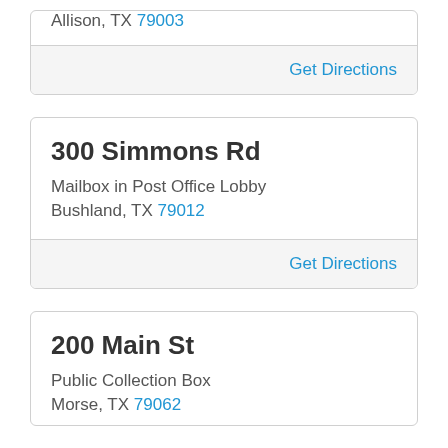Allison, TX 79003
Get Directions
300 Simmons Rd
Mailbox in Post Office Lobby
Bushland, TX 79012
Get Directions
200 Main St
Public Collection Box
Morse, TX 79062